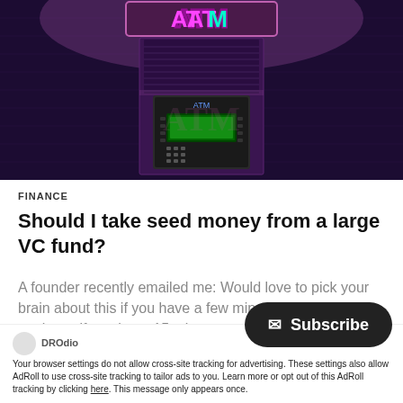[Figure (photo): Nighttime photo of an ATM machine mounted on a dark brick wall with neon purple/pink ATM sign glowing above it. The scene is dark and moody with purple lighting.]
FINANCE
Should I take seed money from a large VC fund?
A founder recently emailed me: Would love to pick your brain about this if you have a few minutes to spare. Let me know if you have 15 minutes to chat on the phone in...
DROdio
Your browser settings do not allow cross-site tracking for advertising. These settings also allow AdRoll to use cross-site tracking to tailor ads to you. Learn more or opt out of this AdRoll tracking by clicking here. This message only appears once.